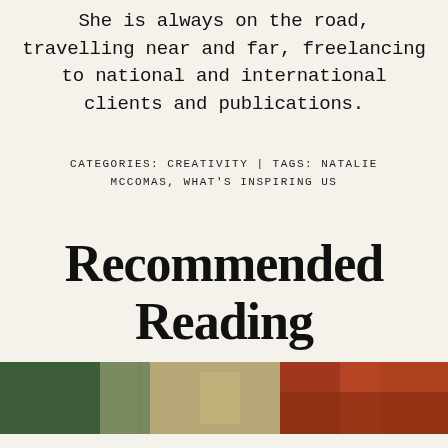She is always on the road, travelling near and far, freelancing to national and international clients and publications.
CATEGORIES: CREATIVITY | TAGS: NATALIE MCCOMAS, WHAT'S INSPIRING US
Recommended Reading
[Figure (photo): Two photos side by side at the bottom of the page: left photo shows a chalkboard and stone wall scene, right photo shows warm reddish-brown tones.]